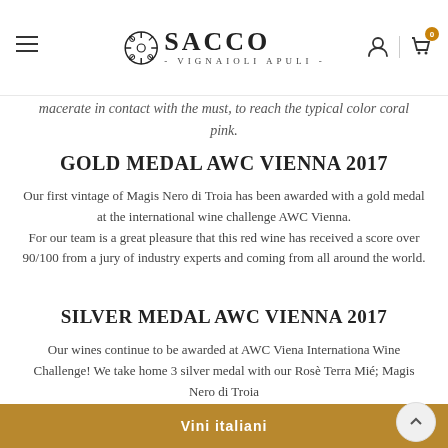SACCO - VIGNAIOLI APULI -
macerate in contact with the must, to reach the typical color coral pink.
GOLD MEDAL AWC VIENNA 2017
Our first vintage of Magis Nero di Troia has been awarded with a gold medal at the international wine challenge AWC Vienna. For our team is a great pleasure that this red wine has received a score over 90/100 from a jury of industry experts and coming from all around the world.
SILVER MEDAL AWC VIENNA 2017
Our wines continue to be awarded at AWC Viena Internationa Wine Challenge! We take home 3 silver medal with our Rosè Terra Mié; Magis Nero di Troia
Vini italiani